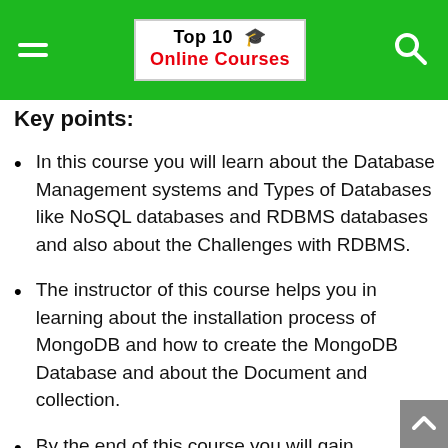Top 10 🎓 Online Courses
Key points:
In this course you will learn about the Database Management systems and Types of Databases like NoSQL databases and RDBMS databases and also about the Challenges with RDBMS.
The instructor of this course helps you in learning about the installation process of MongoDB and how to create the MongoDB Database and about the Document and collection.
By the end of this course you will gain knowledge on the performance tuning in MongoDB in which the topics like Indexes in MongoDB, how to analyse the Query performance, profiler demo,